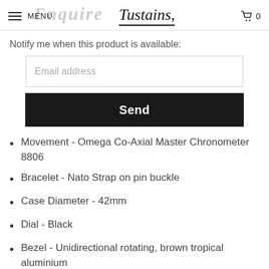MENU  Tustains  0
Notify me when this product is available:
Send
Movement -  Omega Co-Axial Master Chronometer 8806
Bracelet - Nato Strap on pin buckle
Case Diameter - 42mm
Dial - Black
Bezel -  Unidirectional rotating, brown tropical aluminium